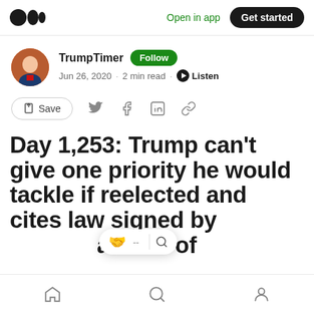Medium app header — Open in app | Get started
TrumpTimer · Follow · Jun 26, 2020 · 2 min read · Listen
Save (share actions row)
Day 1,253: Trump can't give one priority he would tackle if reelected and cites law signed by [clap icon] -- [search icon] as one of
Bottom navigation bar: Home, Search, Profile